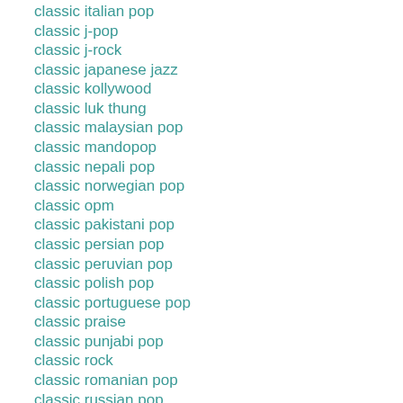classic italian pop
classic j-pop
classic j-rock
classic japanese jazz
classic kollywood
classic luk thung
classic malaysian pop
classic mandopop
classic nepali pop
classic norwegian pop
classic opm
classic pakistani pop
classic persian pop
classic peruvian pop
classic polish pop
classic portuguese pop
classic praise
classic punjabi pop
classic rock
classic romanian pop
classic russian pop
classic russian rock
classic schlager
classic sinhala pop
classic soul
classic south african pop